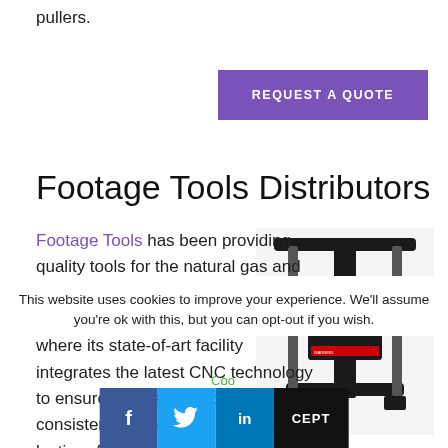pullers.
REQUEST A QUOTE
Footage Tools Distributors
Footage Tools has been providing quality tools for the natural gas and water industry since 1982. The company is in Ontario, Canada, where its state-of-art facility integrates the latest CNC technology to ensure that its products are consistent, high-quality, and long-lasting. Among the products that line
[Figure (photo): Black industrial tool/puller device with metal bars and clamps, branded with Footage Tools logo]
This website uses cookies to improve your experience. We'll assume you're ok with this, but you can opt-out if you wish.
Cookie Settings  [Facebook] [Twitter] [LinkedIn]  ACCEPT